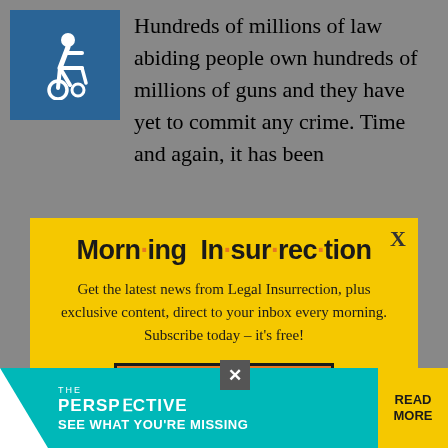Hundreds of millions of law abiding people own hundreds of millions of guns and they have yet to commit any crime. Time and again, it has been
[Figure (illustration): Wheelchair accessibility icon — white figure in wheelchair on blue/teal background]
Morning Insurrection
Get the latest news from Legal Insurrection, plus exclusive content, direct to your inbox every morning. Subscribe today – it's free!
JOIN NOW
political reasons) the criminal, the government (largely Democrats) is
[Figure (infographic): Bottom advertisement bar: THE PERSPECTIVE - SEE WHAT YOU'RE MISSING - READ MORE, on teal background]